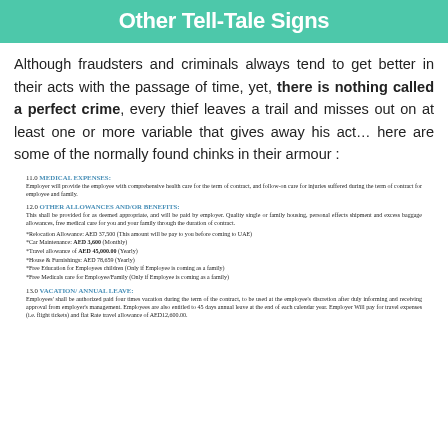Other Tell-Tale Signs
Although fraudsters and criminals always tend to get better in their acts with the passage of time, yet, there is nothing called a perfect crime, every thief leaves a trail and misses out on at least one or more variable that gives away his act... here are some of the normally found chinks in their armour :
11.0 MEDICAL EXPENSES:
Employer will provide the employee with comprehensive health care for the term of contract, and follow-on care for injuries suffered during the term of contract for employee and family.
12.0 OTHER ALLOWANCES AND/OR BENEFITS:
This shall be provided for as deemed appropriate, and will be paid by employer. Quality single or family housing, personal effects shipment and excess baggage allowances, free medical care for you and your family through the duration of contract.
*Relocation Allowance: AED 37,500 (This amount will be pay to you before coming to UAE)
*Car Maintenance: AED 3,600 (Monthly)
*Travel allowance of AED 45,000.00 (Yearly)
*House & Furnishings: AED 78,659 (Yearly)
*Free Education for Employees children (Only if Employee is coming as a family)
*Free Medicals care for Employee/Family (Only if Employee is coming as a family)
13.0 VACATION/ ANNUAL LEAVE:
Employees' shall be authorized paid four times vacation during the term of the contract, to be used at the employee's discretion after duly informing and receiving approval from employer's management. Employees are also entitled to 45 days annual leave at the end of each calendar year. Employer Will pay for travel expenses (i.e. flight tickets) and flat Rate travel allowance of AED12,600.00.